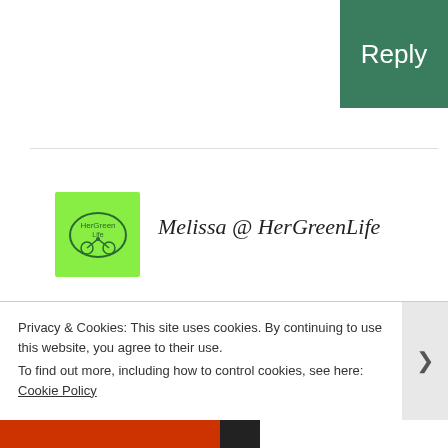Reply
[Figure (logo): HerGreenLife avatar logo - green square with bicycle/smiley icon]
Melissa @ HerGreenLife
March 25, 2015 at 8:57 am
If definitely did not come all at once. Before taking the 6-week course, I would have also said I sucked at
Privacy & Cookies: This site uses cookies. By continuing to use this website, you agree to their use.
To find out more, including how to control cookies, see here: Cookie Policy
Close and accept